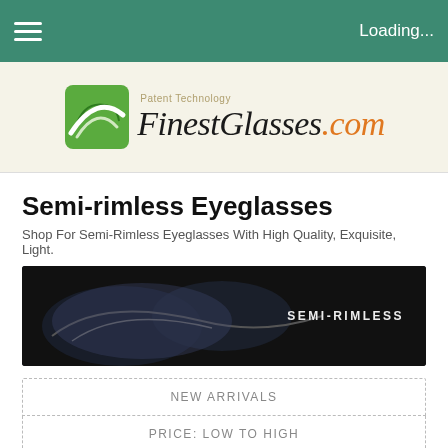Loading...
[Figure (logo): FinestGlasses.com logo with green icon and Patent Technology tagline]
Semi-rimless Eyeglasses
Shop For Semi-Rimless Eyeglasses With High Quality, Exquisite, Light.
[Figure (photo): Dark banner image showing semi-rimless eyeglasses frames with text SEMI-RIMLESS]
NEW ARRIVALS
PRICE: LOW TO HIGH
PRICE: HIGH TO LOW